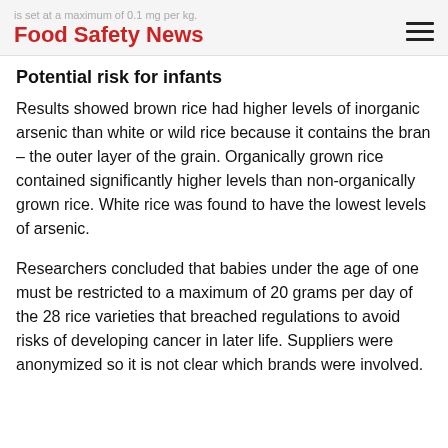is set at a maximum of 0.1 mg per kg.
Food Safety News
Potential risk for infants
Results showed brown rice had higher levels of inorganic arsenic than white or wild rice because it contains the bran – the outer layer of the grain. Organically grown rice contained significantly higher levels than non-organically grown rice. White rice was found to have the lowest levels of arsenic.
Researchers concluded that babies under the age of one must be restricted to a maximum of 20 grams per day of the 28 rice varieties that breached regulations to avoid risks of developing cancer in later life. Suppliers were anonymized so it is not clear which brands were involved.